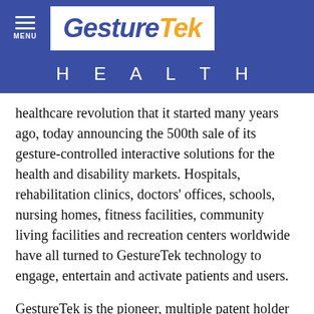[Figure (logo): GestureTek logo with blue italic 'Gesture' and orange italic 'Tek' text on white background, inside blue navigation bar with hamburger menu icon and MENU text]
HEALTH
healthcare revolution that it started many years ago, today announcing the 500th sale of its gesture-controlled interactive solutions for the health and disability markets. Hospitals, rehabilitation clinics, doctors' offices, schools, nursing homes, fitness facilities, community living facilities and recreation centers worldwide have all turned to GestureTek technology to engage, entertain and activate patients and users.
GestureTek is the pioneer, multiple patent holder and innovator in video